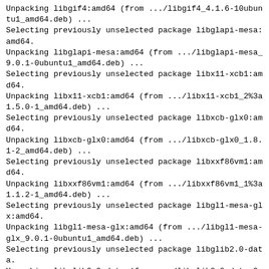Unpacking libgif4:amd64 (from .../libgif4_4.1.6-10ubuntu1_amd64.deb) ...
Selecting previously unselected package libglapi-mesa:amd64.
Unpacking libglapi-mesa:amd64 (from .../libglapi-mesa_9.0.1-0ubuntu1_amd64.deb) ...
Selecting previously unselected package libx11-xcb1:amd64.
Unpacking libx11-xcb1:amd64 (from .../libx11-xcb1_2%3a1.5.0-1_amd64.deb) ...
Selecting previously unselected package libxcb-glx0:amd64.
Unpacking libxcb-glx0:amd64 (from .../libxcb-glx0_1.8.1-2_amd64.deb) ...
Selecting previously unselected package libxxf86vm1:amd64.
Unpacking libxxf86vm1:amd64 (from .../libxxf86vm1_1%3a1.1.2-1_amd64.deb) ...
Selecting previously unselected package libgl1-mesa-glx:amd64.
Unpacking libgl1-mesa-glx:amd64 (from .../libgl1-mesa-glx_9.0.1-0ubuntu1_amd64.deb) ...
Selecting previously unselected package libglib2.0-data.
Unpacking libglib2.0-data (from .../libglib2.0-data_2.34.2-1_all.deb) ...
Selecting previously unselected package libglib2.0-bin.
Unpacking libglib2.0-bin (from .../libglib2.0-bin_2.34.2-1_amd64.deb) ...
Selecting previously unselected package libhunspell-